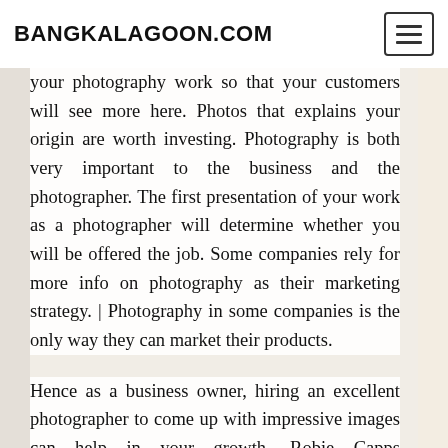BANGKALAGOON.COM
your photography work so that your customers will see more here. Photos that explains your origin are worth investing. Photography is both very important to the business and the photographer. The first presentation of your work as a photographer will determine whether you will be offered the job. Some companies rely for more info on photography as their marketing strategy. | Photography in some companies is the only way they can market their products.
Hence as a business owner, hiring an excellent photographer to come up with impressive images can help in your growth. Robie Capps Photography has staffs who use their skills in various ways. One of these